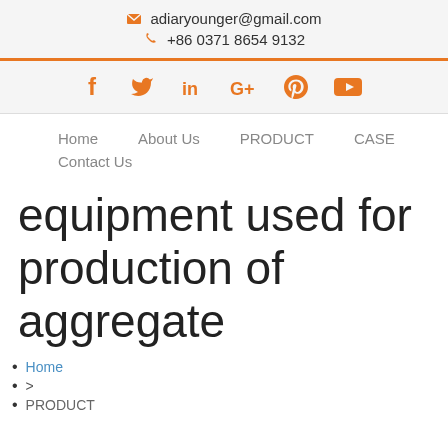adiaryounger@gmail.com  +86 0371 8654 9132
[Figure (infographic): Social media icons: Facebook, Twitter, LinkedIn, Google+, Pinterest, YouTube in orange]
Home    About Us    PRODUCT    CASE
Contact Us
equipment used for production of aggregate
Home
>
PRODUCT